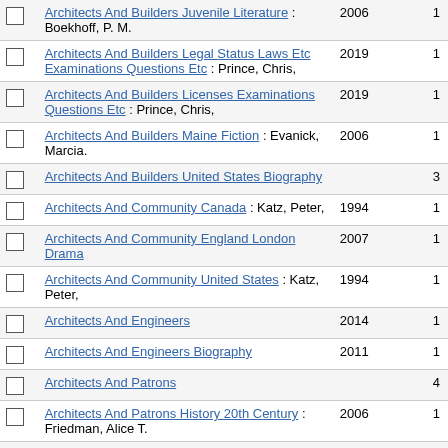|  | Title / Author | Year | Count |
| --- | --- | --- | --- |
| ☐ | Architects And Builders Juvenile Literature : Boekhoff, P. M. | 2006 | 1 |
| ☐ | Architects And Builders Legal Status Laws Etc Examinations Questions Etc : Prince, Chris, | 2019 | 1 |
| ☐ | Architects And Builders Licenses Examinations Questions Etc : Prince, Chris, | 2019 | 1 |
| ☐ | Architects And Builders Maine Fiction : Evanick, Marcia. | 2006 | 1 |
| ☐ | Architects And Builders United States Biography |  | 3 |
| ☐ | Architects And Community Canada : Katz, Peter, | 1994 | 1 |
| ☐ | Architects And Community England London Drama | 2007 | 1 |
| ☐ | Architects And Community United States : Katz, Peter, | 1994 | 1 |
| ☐ | Architects And Engineers | 2014 | 1 |
| ☐ | Architects And Engineers Biography | 2011 | 1 |
| ☐ | Architects And Patrons |  | 4 |
| ☐ | Architects And Patrons History 20th Century : Friedman, Alice T. | 2006 | 1 |
| ☐ | Architects And Patrons Italy Rome History 17th Century |  | 2 |
| ☐ | Architects And Patrons United States : | 1985 | 1 |